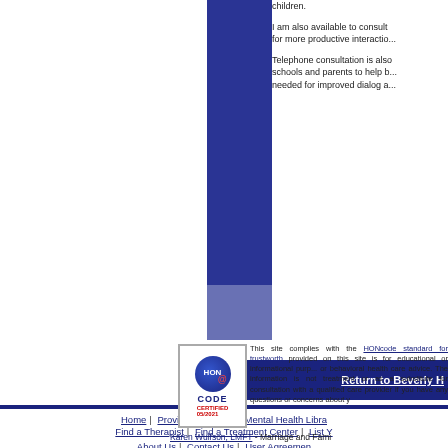children.
I am also available to consult for more productive interactions.
Telephone consultation is also available. schools and parents to help bring about the changes needed for improved dialog a
[Figure (illustration): Dark navy blue sidebar/column graphic element]
Return to Beverly H
Home | Provider Directory | Mental Health Libra Find a Therapist | Find a Treatment Center | List Y About Us | Contact Us | User Agreement
[Figure (logo): HON Code Certified 05/2021 logo badge]
This site complies with the HONcode standard for trustworthy health information. Information provided on this site is for educational or informational purposes only and is not mental health or behavioral health care advice. The information is not intended as a substitute for treatment or as a substitute for consultation with a qualified health care provider if you have any questions or concerns about your health.
Karen Wulfson, LMFT - Marriage and Fami